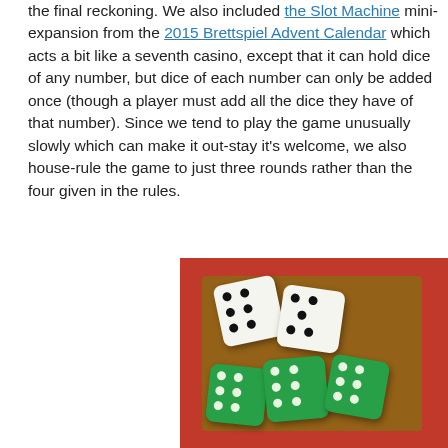the final reckoning.  We also included the Slot Machine mini-expansion from the 2015 Brettspiel Advent Calendar which acts a bit like a seventh casino, except that it can hold dice of any number, but dice of each number can only be added once (though a player must add all the dice they have of that number).  Since we tend to play the game unusually slowly which can make it out-stay it's welcome, we also house-rule the game to just three rounds rather than the four given in the rules.
[Figure (photo): Photo of board game components on a red background showing white dice with black pips and green dice with white pips arranged on a game board]